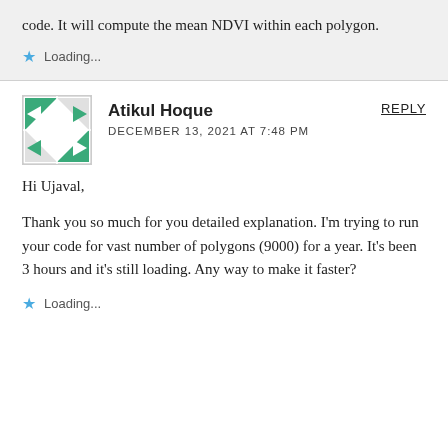code. It will compute the mean NDVI within each polygon.
Loading...
Atikul Hoque
DECEMBER 13, 2021 AT 7:48 PM
REPLY
Hi Ujaval,
Thank you so much for you detailed explanation. I'm trying to run your code for vast number of polygons (9000) for a year. It's been 3 hours and it's still loading. Any way to make it faster?
Loading...